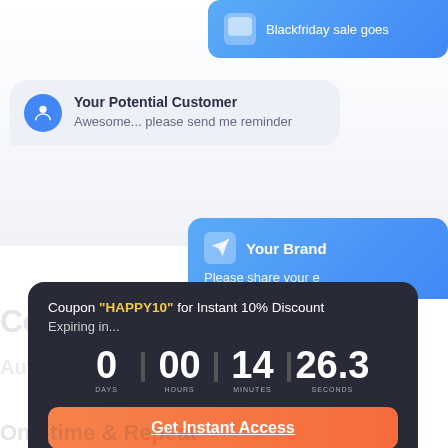[Figure (screenshot): Blue chat bubble at top right showing 'Blackfriday sale goes' text (partially visible)]
[Figure (screenshot): Customer chat bubble with avatar showing name 'Your Potential Customer' and message 'Awesome... please send me reminder']
[Figure (screenshot): Brand chat bubble (right aligned, blue) showing 'Your Brand' header and 'Please share your e' message (partially visible)]
Comments to Commerce
Auto Comments basis as Page
Coupon "HAPPY10" for Instant 10% Discount
Expiring in...
0 DAYS | 00 HOURS | 14 MINUTES | 26.3 SECONDS
Get Instant Access
One-time & Repeat